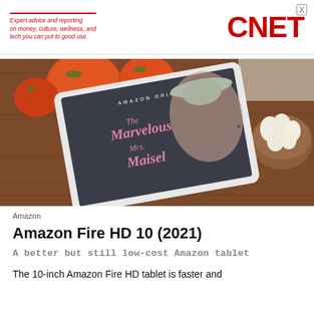Expert advice and reporting on money, culture, wellness, and tech you can put to good use. CNET
[Figure (photo): Amazon Fire HD 10 tablet lying on a wooden surface showing The Marvelous Mrs. Maisel Amazon Original show, with tomatoes and garlic bowl visible around the tablet.]
Amazon
Amazon Fire HD 10 (2021)
A better but still low-cost Amazon tablet
The 10-inch Amazon Fire HD tablet is faster and